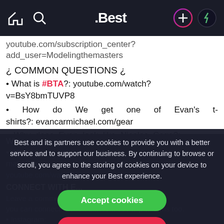.Best navigation bar with home, search, logo, add, and profile icons
youtube.com/subscription_center?add_user=Modelingthemasters
¿ COMMON QUESTIONS ¿
What is #BTA?: youtube.com/watch?v=BsY8bmTUVP8
How do We get one of Evan's t-shirts?: evancarmichael.com/gear
Why does Evan look like Nicolas Cage?:
make?
youtube.com/watch?v=...
CONNECT WITH E...
Leave a comment o... ll get a response. Or you can connect with on different social platforms too.
Instagram:
Best and its partners use cookies to provide you with a better service and to support our business. By continuing to browse or scroll, you agree to the storing of cookies on your device to enhance your Best experience.
Accept cookies
Only essentials
Learn more about our privacy policy.